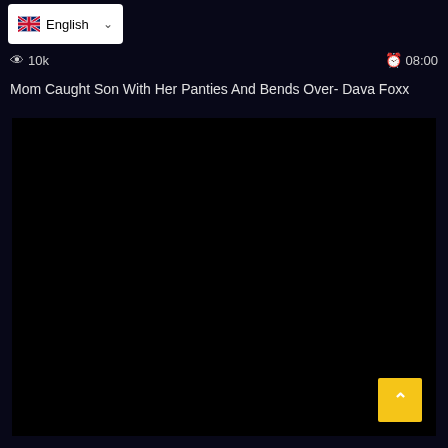English (language dropdown)
👁 10k   🕐 08:00
Mom Caught Son With Her Panties And Bends Over- Dava Foxx
[Figure (screenshot): Black video thumbnail placeholder]
[Figure (other): Yellow back-to-top button with upward chevron arrow]